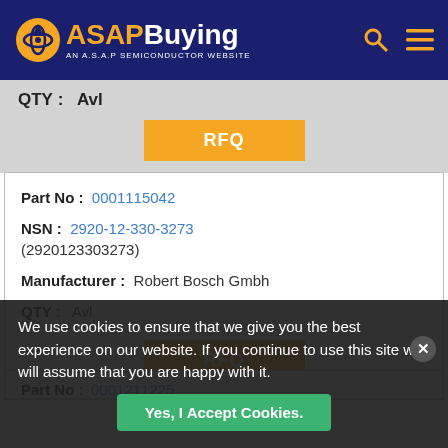[Figure (logo): ASAP Buying logo - AN A.S.A.P SEMICONDUCTOR WEBSITE with search and menu icons on dark navy header]
QTY: Avl
RFQ
Part No: 0001115042
NSN: 2920-12-330-3273 (2920123303273)
Manufacturer: Robert Bosch Gmbh
QTY: Avl
RFQ
Part No: 0001211225
We use cookies to ensure that we give you the best experience on our website. If you continue to use this site we will assume that you are happy with it.
Yes, I Accept Cookies.